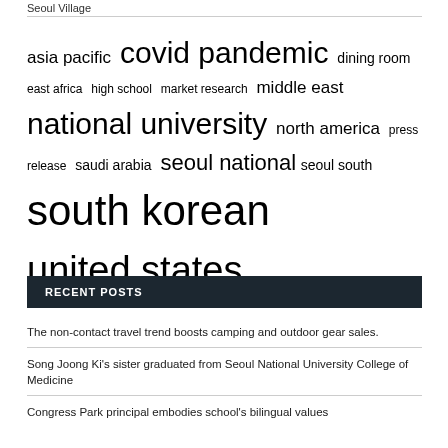Seoul Village
asia pacific  covid pandemic  dining room  east africa  high school  market research  middle east  national university  north america  press release  saudi arabia  seoul national  seoul south  south korean  united states
RECENT POSTS
The non-contact travel trend boosts camping and outdoor gear sales.
Song Joong Ki's sister graduated from Seoul National University College of Medicine
Congress Park principal embodies school's bilingual values